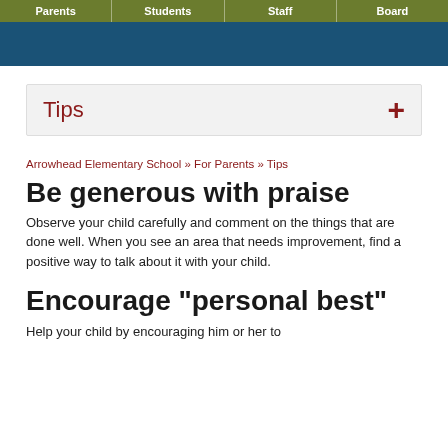Parents | Students | Staff | Board
Tips
Arrowhead Elementary School » For Parents » Tips
Be generous with praise
Observe your child carefully and comment on the things that are done well. When you see an area that needs improvement, find a positive way to talk about it with your child.
Encourage "personal best"
Help your child by encouraging him or her to